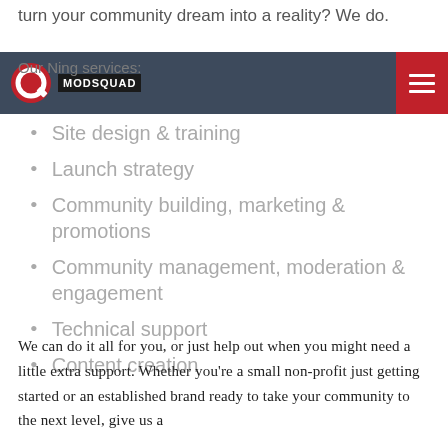turn your community dream into a reality? We do.
Our Ning services:
[Figure (logo): ModSquad logo: red circle with white Q shape and black bar with MODSQUAD text in white]
Site design & training
Launch strategy
Community building, marketing & promotions
Community management, moderation & engagement
Technical support
Content creation
We can do it all for you, or just help out when you might need a little extra support. Whether you're a small non-profit just getting started or an established brand ready to take your community to the next level, give us a